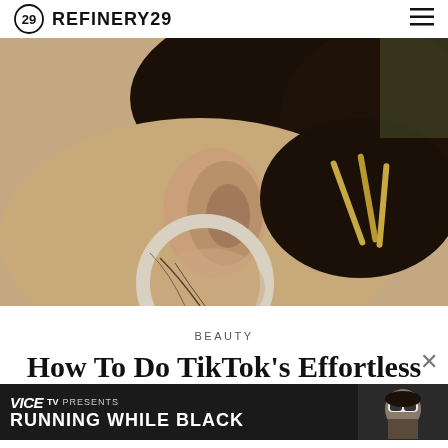REFINERY29
[Figure (photo): Close-up of a woman's neck and ear from behind, showing a large silver hoop earring and a dark hair bun secured with gold hair pins]
BEAUTY
How To Do TikTok’s Effortless French Pin Bun On All Hair
JACO... 0 AM
[Figure (screenshot): VICE TV PRESENTS RUNNING WHILE BLACK advertisement banner with a person wearing ski goggles]